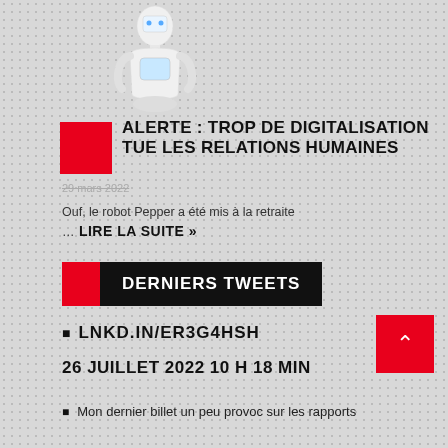[Figure (photo): White humanoid robot (Pepper) standing on a white background]
ALERTE : TROP DE DIGITALISATION TUE LES RELATIONS HUMAINES
29 mars 2022
Ouf, le robot Pepper a été mis à la retraite … LIRE LA SUITE »
DERNIERS TWEETS
LNKD.IN/ER3G4HSH
26 JUILLET 2022 10 H 18 MIN
Mon dernier billet un peu provoc sur les rapports